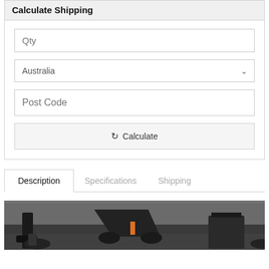Calculate Shipping
Qty
Australia
Post Code
Calculate
Description
Specifications
Shipping
[Figure (photo): Photo of dark gym exercise bike equipment on a mat, viewed from low angle]